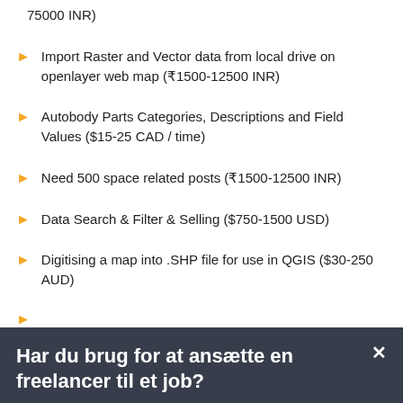75000 INR)
Import Raster and Vector data from local drive on openlayer web map (₹1500-12500 INR)
Autobody Parts Categories, Descriptions and Field Values ($15-25 CAD / time)
Need 500 space related posts (₹1500-12500 INR)
Data Search & Filter & Selling ($750-1500 USD)
Digitising a map into .SHP file for use in QGIS ($30-250 AUD)
Har du brug for at ansætte en freelancer til et job?
Opret et projekt